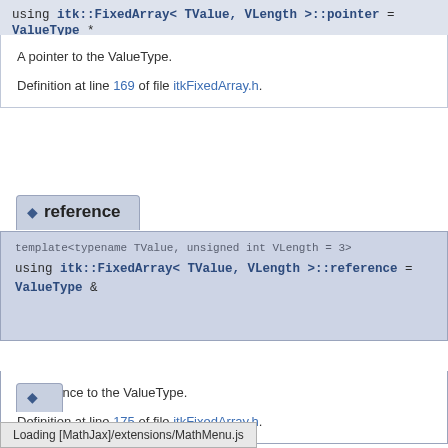using itk::FixedArray< TValue, VLength >::pointer = ValueType *
A pointer to the ValueType.
Definition at line 169 of file itkFixedArray.h.
reference
template<typename TValue, unsigned int VLength = 3>
using itk::FixedArray< TValue, VLength >::reference = ValueType &
A reference to the ValueType.
Definition at line 175 of file itkFixedArray.h.
Loading [MathJax]/extensions/MathMenu.js